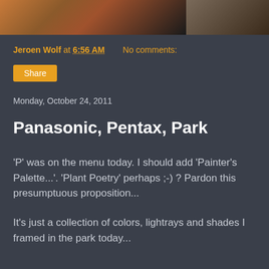[Figure (photo): Partial photo strip showing outdoor/nature scene at top of page, dark background with warm brownish tones on left portion]
Jeroen Wolf at 6:56 AM    No comments:
Share
Monday, October 24, 2011
Panasonic, Pentax, Park
'P' was on the menu today. I should add 'Painter's Palette...'. 'Plant Poetry' perhaps ;-) ? Pardon this presumptuous proposition...
It's just a collection of colors, lightrays and shades I framed in the park today...